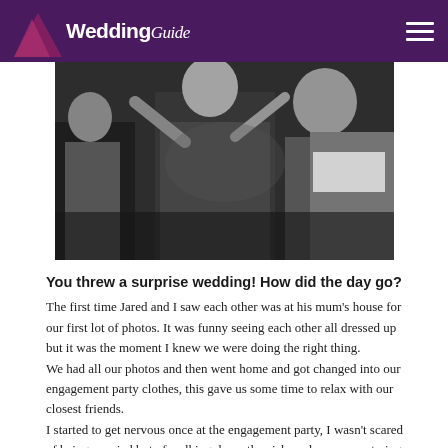Wedding Guide
[Figure (photo): Black and white photo of people at a party, dancing and celebrating, appears to be a wedding celebration]
You threw a surprise wedding! How did the day go?
The first time Jared and I saw each other was at his mum's house for our first lot of photos. It was funny seeing each other all dressed up but it was the moment I knew we were doing the right thing.
We had all our photos and then went home and got changed into our engagement party clothes, this gave us some time to relax with our closest friends.
I started to get nervous once at the engagement party, I wasn't scared of being married but of walking down the aisle and everyone staring at me. A friend came up to me and said someone had told her they thought it was going to be a surprise wedding but she knew we had planned to elope to Haymen Island which I thought was funny.
We snuck out to get changed, I had to walk down the outside stairs